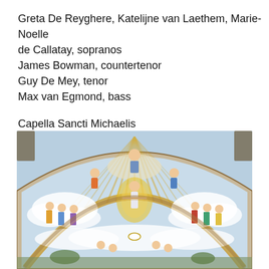Greta De Reyghere, Katelijne van Laethem, Marie-Noelle de Callatay, sopranos
James Bowman, countertenor
Guy De Mey, tenor
Max van Egmond, bass
Capella Sancti Michaelis
Ricercar Consort
[Figure (illustration): A Renaissance fresco painting in a semi-circular arch format depicting a heavenly scene with a central Christ-like figure surrounded by saints and angels on clouds, with golden rays emanating from behind, and cherubs at the bottom. Sky and landscape visible below.]